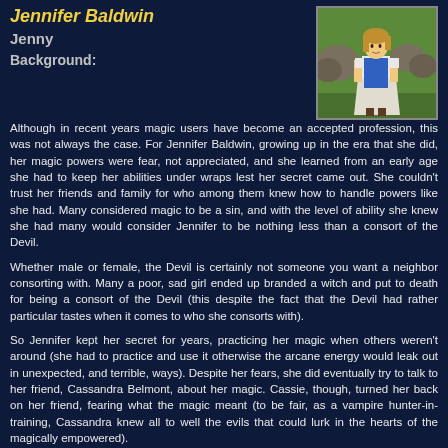Jennifer Baldwin
Jenny
Background:
[Figure (illustration): Pixel art character sprite of a woman in a blue and white dress standing outdoors with rocks and green background.]
Although in recent years magic users have become an accepted profession, this was not always the case. For Jennifer Baldwin, growing up in the era that she did, her magic powers were fear, not appreciated, and she learned from an early age she had to keep her abilities under wraps lest her secret came out. She couldn't trust her friends and family for who among them knew how to handle powers like she had. Many considered magic to be a sin, and with the level of ability she knew she had many would consider Jennifer to be nothing less than a consort of the Devil.
Whether male or female, the Devil is certainly not someone you want a neighbor consorting with. Many a poor, sad girl ended up branded a witch and put to death for being a consort of the Devil (this despite the fact that the Devil had rather particular tastes when it comes to who she consorts with).
So Jennifer kept her secret for years, practicing her magic when others weren't around (she had to practice and use it otherwise the arcane energy would leak out in unexpected, and terrible, ways). Despite her fears, she did eventually try to talk to her friend, Cassandra Belmont, about her magic. Cassie, though, turned her back on her friend, fearing what the magic meant (to be fair, as a vampire hunter-in-training, Cassandra knew all to well the evils that could lurk in the hearts of the magically empowered).